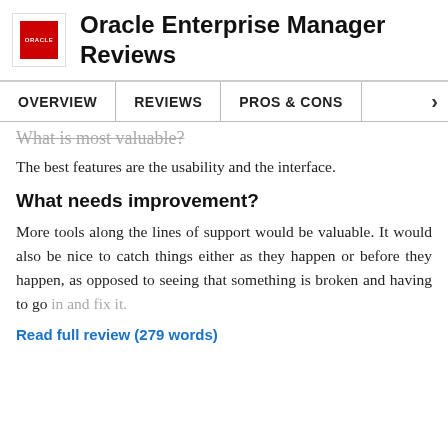Oracle Enterprise Manager Reviews
OVERVIEW   REVIEWS   PROS & CONS   >
What is most valuable?
The best features are the usability and the interface.
What needs improvement?
More tools along the lines of support would be valuable. It would also be nice to catch things either as they happen or before they happen, as opposed to seeing that something is broken and having to go in and fix it.
Read full review (279 words)